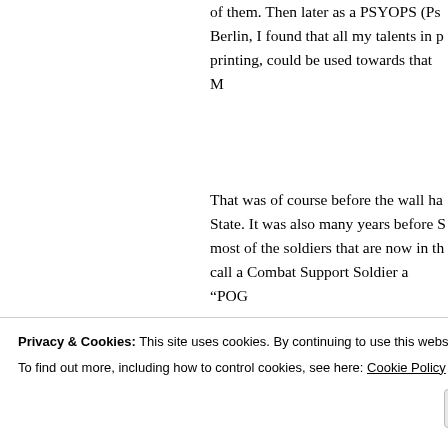of them. Then later as a PSYOPS (Ps... Berlin, I found that all my talents in p... printing, could be used towards that M...
That was of course before the wall ha... State. It was also many years before S... most of the soldiers that are now in th... call a Combat Support Soldier a “POG”
About three weeks ago some Speciali... “POG” on a military blog? At first I w... term I ’ve never heard before, and ho... was. I had an inclination it was joking...
Privacy & Cookies: This site uses cookies. By continuing to use this website, you agree to their use.
To find out more, including how to control cookies, see here: Cookie Policy
Close and accept